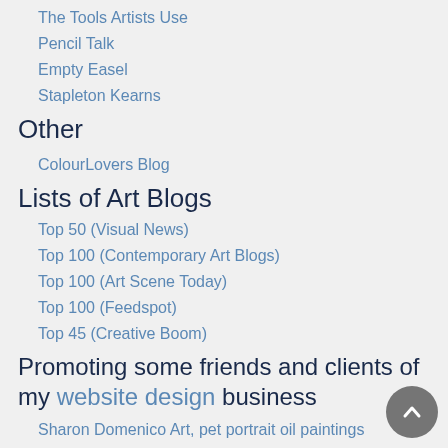The Tools Artists Use
Pencil Talk
Empty Easel
Stapleton Kearns
Other
ColourLovers Blog
Lists of Art Blogs
Top 50 (Visual News)
Top 100 (Contemporary Art Blogs)
Top 100 (Art Scene Today)
Top 100 (Feedspot)
Top 45 (Creative Boom)
Promoting some friends and clients of my website design business
Sharon Domenico Art, pet portrait oil paintings
Platinum Paperhanging, wallpaper hanging, Main Line Philadelphia, PA